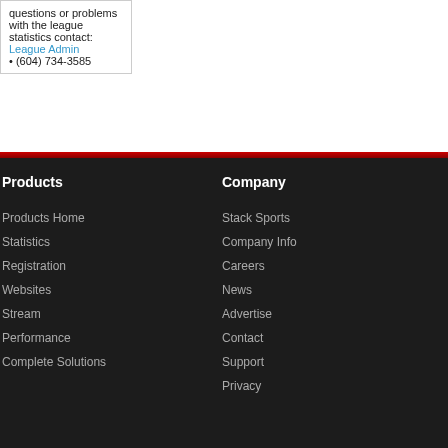questions or problems with the league statistics contact:
League Admin
• (604) 734-3585
Products
Products Home
Statistics
Registration
Websites
Stream
Performance
Complete Solutions
Company
Stack Sports
Company Info
Careers
News
Advertise
Contact
Support
Privacy